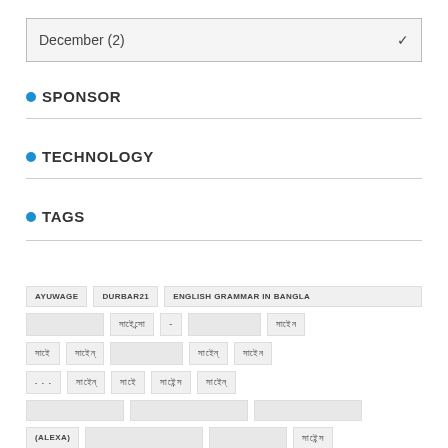December (2)
SPONSOR
TECHNOLOGY
TAGS
AYUWAGE
DURBAR21
ENGLISH GRAMMAR IN BANGLA
(ALEXA)